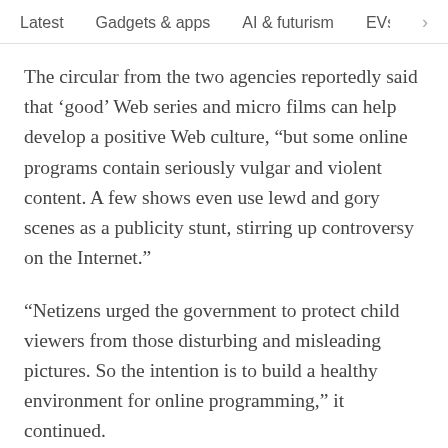Latest   Gadgets & apps   AI & futurism   EVs & mobil  >
The circular from the two agencies reportedly said that ‘good’ Web series and micro films can help develop a positive Web culture, “but some online programs contain seriously vulgar and violent content. A few shows even use lewd and gory scenes as a publicity stunt, stirring up controversy on the Internet.”
“Netizens urged the government to protect child viewers from those disturbing and misleading pictures. So the intention is to build a healthy environment for online programming,” it continued.
Where necessary, content should be censored in advanced being published, the agencies said,